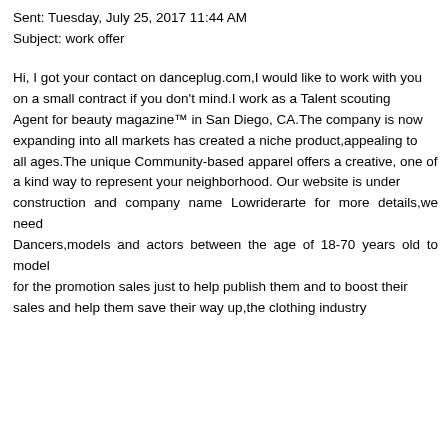Sent: Tuesday, July 25, 2017 11:44 AM
Subject: work offer
Hi, I got your contact on danceplug.com,I would like to work with you on a small contract if you don't mind.I work as a Talent scouting Agent for beauty magazine™ in San Diego, CA.The company is now expanding into all markets has created a niche product,appealing to all ages.The unique Community-based apparel offers a creative, one of a kind way to represent your neighborhood. Our website is under construction and company name Lowriderarte for more details,we need Dancers,models and actors between the age of 18-70 years old to model for the promotion sales just to help publish them and to boost their sales and help them save their way up,the clothing industry